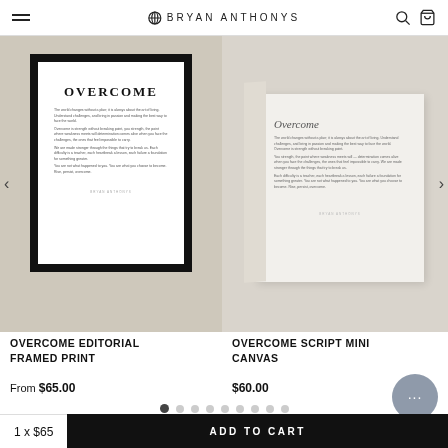BRYAN ANTHONYS
[Figure (photo): Framed print with OVERCOME text on beige background, left product image]
[Figure (photo): White box canvas with Overcome script text on light background, right product image]
OVERCOME EDITORIAL FRAMED PRINT
From $65.00
OVERCOME SCRIPT MINI CANVAS
$60.00
1 x $65  ADD TO CART